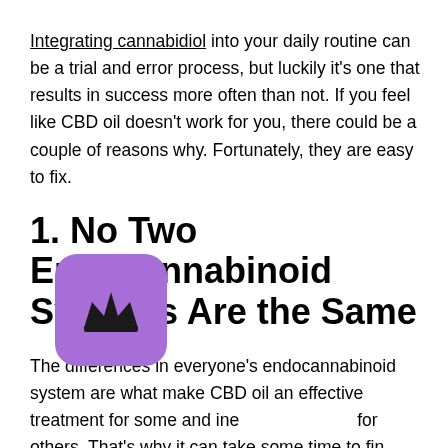Integrating cannabidiol into your daily routine can be a trial and error process, but luckily it's one that results in success more often than not. If you feel like CBD oil doesn't work for you, there could be a couple of reasons why. Fortunately, they are easy to fix.
1. No Two Endocannabinoid Systems Are the Same
The differences in everyone's endocannabinoid system are what make CBD oil an effective treatment for some and ineffective for others. That's why it can take some time to find the strength and type that work best for you.
While the main ingredient in CBD oil will have a general effect on the cannabinoid receptors in your body, it can't
[Figure (logo): Purple rounded square icon with a black crown symbol in the center]